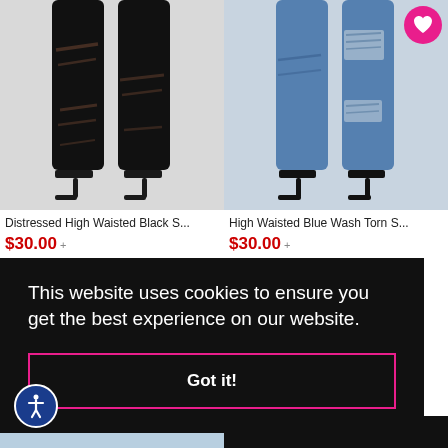[Figure (photo): Product photo of distressed high waisted black skinny jeans worn by a model, showing legs from waist down with black heels]
Distressed High Waisted Black S...
$30.00
[Figure (photo): Product photo of high waisted blue wash torn skinny jeans worn by a model, showing legs from waist down with black heels, with a pink heart/wishlist button overlay]
High Waisted Blue Wash Torn S...
$30.00
This website uses cookies to ensure you get the best experience on our website.
Got it!